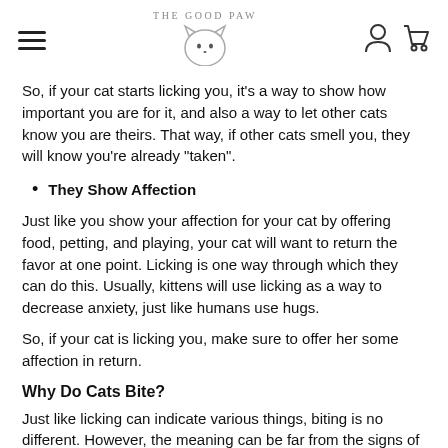THE GOOD PAW
So, if your cat starts licking you, it's a way to show how important you are for it, and also a way to let other cats know you are theirs. That way, if other cats smell you, they will know you're already "taken".
They Show Affection
Just like you show your affection for your cat by offering food, petting, and playing, your cat will want to return the favor at one point. Licking is one way through which they can do this. Usually, kittens will use licking as a way to decrease anxiety, just like humans use hugs.
So, if your cat is licking you, make sure to offer her some affection in return.
Why Do Cats Bite?
Just like licking can indicate various things, biting is no different. However, the meaning can be far from the signs of affection given by licking. Although it may be playful